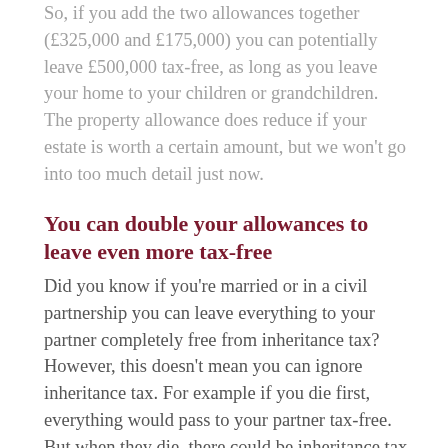So, if you add the two allowances together (£325,000 and £175,000) you can potentially leave £500,000 tax-free, as long as you leave your home to your children or grandchildren. The property allowance does reduce if your estate is worth a certain amount, but we won't go into too much detail just now.
You can double your allowances to leave even more tax-free
Did you know if you're married or in a civil partnership you can leave everything to your partner completely free from inheritance tax? However, this doesn't mean you can ignore inheritance tax. For example if you die first, everything would pass to your partner tax-free. But when they die, there could be inheritance tax due. The good news is your partner can use your unused allowances. So, if you